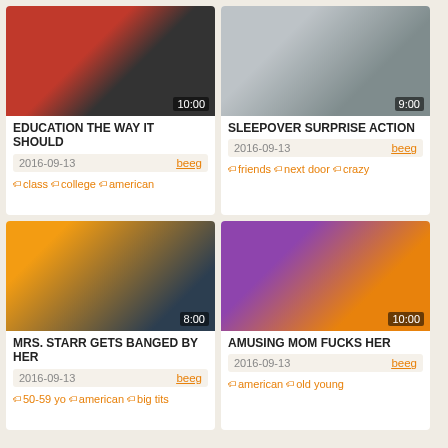[Figure (photo): Video thumbnail showing two people in a room, duration 10:00]
EDUCATION THE WAY IT SHOULD
2016-09-13  beeg
class  college  american
[Figure (photo): Video thumbnail showing people in a bedroom scene, duration 9:00]
SLEEPOVER SURPRISE ACTION
2016-09-13  beeg
friends  next door  crazy
[Figure (photo): Video thumbnail showing three people around a table, duration 8:00]
MRS. STARR GETS BANGED BY HER
2016-09-13  beeg
50-59 yo  american  big tits
[Figure (photo): Video thumbnail showing two people kissing, duration 10:00]
AMUSING MOM FUCKS HER
2016-09-13  beeg
american  old young